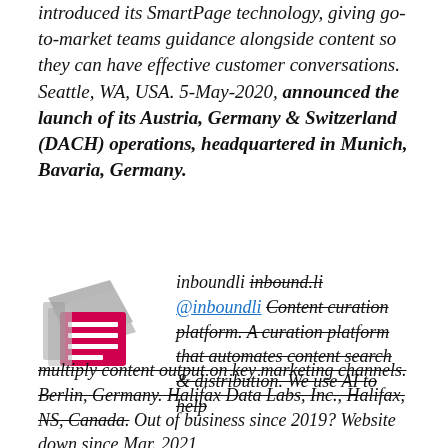introduced its SmartPage technology, giving go-to-market teams guidance alongside content so they can have effective customer conversations. Seattle, WA, USA. 5-May-2020, announced the launch of its Austria, Germany & Switzerland (DACH) operations, headquartered in Munich, Bavaria, Germany.
[Figure (logo): inboundli logo: stacked grey and pink layered document pages icon]
inboundli inbound.li @inboundli Content curation platform. A curation platform that automates content search & distribution. We use AI to help multiply content output on key marketing channels. Berlin, Germany. Halifax Data Labs, Inc., Halifax, NS, Canada. Out of business since 2019? Website down since Mar. 2021